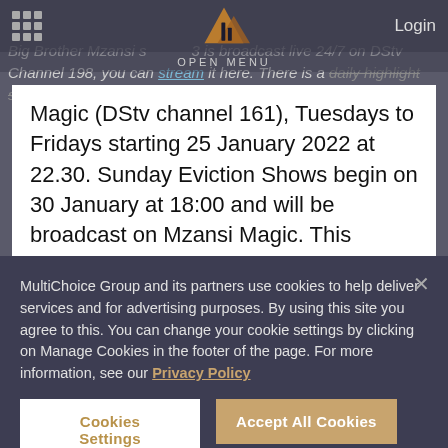Big Brother Mzansi s[eason] 3 is broadcast live 24/7 on DStv Channel 198, you can stream it here. There is a daily highlight show on Mzansi
OPEN MENU
Magic (DStv channel 161), Tuesdays to Fridays starting 25 January 2022 at 22.30. Sunday Eviction Shows begin on 30 January at 18:00 and will be broadcast on Mzansi Magic. This season will also see the return of fan favourite Shower Hour (22:00, Mondays to Thursdays on channel 161). Saturday Night Parties with Channel O and
MultiChoice Group and its partners use cookies to help deliver services and for advertising purposes. By using this site you agree to this. You can change your cookie settings by clicking on Manage Cookies in the footer of the page. For more information, see our Privacy Policy
Cookies Settings
Accept All Cookies